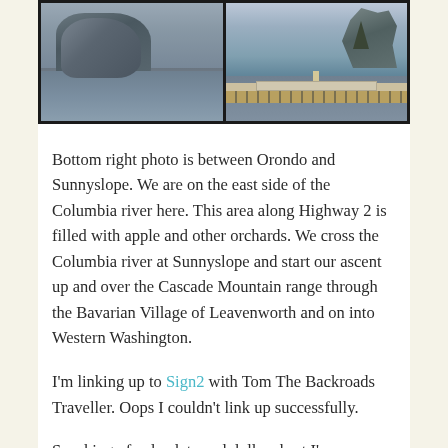[Figure (photo): Two side-by-side photos: left shows a mountain lake/river scene with a large dark mountain under overcast sky; right shows a road along the Columbia river with blue water, mountains, blue sky, a rock formation, and guardrails.]
Bottom right photo is between Orondo and Sunnyslope. We are on the east side of the Columbia river here. This area along Highway 2 is filled with apple and other orchards. We cross the Columbia river at Sunnyslope and start our ascent up and over the Cascade Mountain range through the Bavarian Village of Leavenworth and on into Western Washington.
I'm linking up to Sign2 with Tom The Backroads Traveller. Oops I couldn't link up successfully.
Speaking of a day late and dollar short I'm way behind in visiting blogs. But I'll remedy that soon!